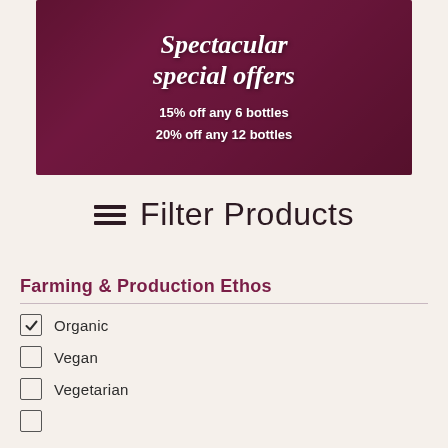[Figure (photo): Promotional banner with dark magenta/purple wine bottle background showing special offers text]
Spectacular special offers
15% off any 6 bottles
20% off any 12 bottles
≡ Filter Products
Farming & Production Ethos
☑ Organic
☐ Vegan
☐ Vegetarian